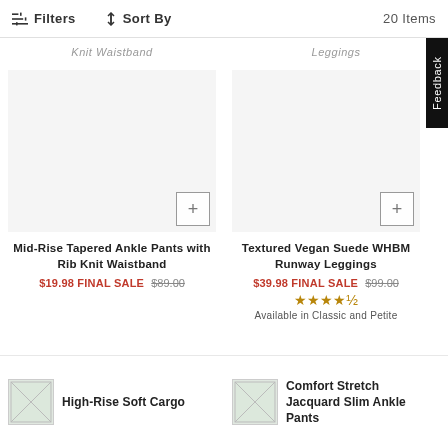Filters  Sort By  20 Items
Knit Waistband  Leggings
[Figure (photo): Mid-Rise Tapered Ankle Pants with Rib Knit Waistband product image placeholder with + quick-add button]
Mid-Rise Tapered Ankle Pants with Rib Knit Waistband
$19.98 FINAL SALE $89.00
[Figure (photo): Textured Vegan Suede WHBM Runway Leggings product image placeholder with + quick-add button]
Textured Vegan Suede WHBM Runway Leggings
$39.98 FINAL SALE $99.00
★★★★½
Available in Classic and Petite
[Figure (photo): High-Rise Soft Cargo thumbnail placeholder]
High-Rise Soft Cargo
[Figure (photo): Comfort Stretch Jacquard Slim Ankle Pants thumbnail placeholder]
Comfort Stretch Jacquard Slim Ankle Pants